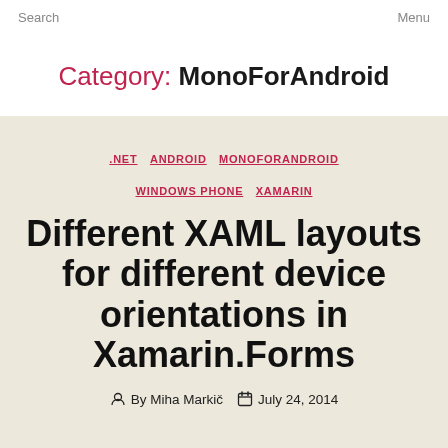Search    Menu
Category: MonoForAndroid
.NET  ANDROID  MONOFORANDROID  WINDOWS PHONE  XAMARIN
Different XAML layouts for different device orientations in Xamarin.Forms
By Miha Markič   July 24, 2014